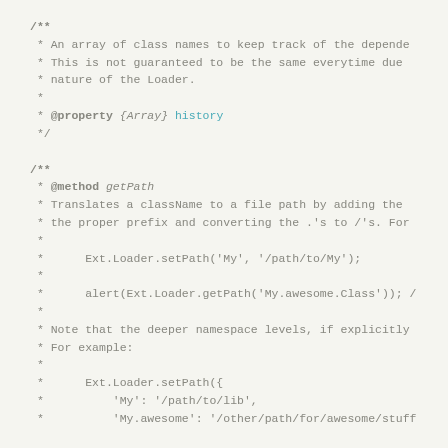/**
 * An array of class names to keep track of the depende
 * This is not guaranteed to be the same everytime due
 * nature of the Loader.
 *
 * @property {Array} history
 */

/**
 * @method getPath
 * Translates a className to a file path by adding the
 * the proper prefix and converting the .'s to /'s. For
 *
 *      Ext.Loader.setPath('My', '/path/to/My');
 *
 *      alert(Ext.Loader.getPath('My.awesome.Class')); /
 *
 * Note that the deeper namespace levels, if explicitly
 * For example:
 *
 *      Ext.Loader.setPath({
 *          'My': '/path/to/lib',
 *          'My.awesome': '/other/path/for/awesome/stuff